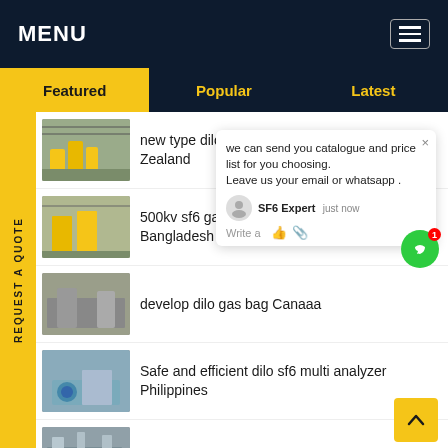MENU
Featured | Popular | Latest
REQUEST A QUOTE
new type dilo gas cart r... Zealand
500kv sf6 gas in circuit b... Bangladesh
develop dilo gas bag Canaaa
Safe and efficient dilo sf6 multi analyzer Philippines
best sf6 circuit breaker Canada
we can send you catalogue and price list for you choosing.
Leave us your email or whatsapp .
SF6 Expert   just now
Write a